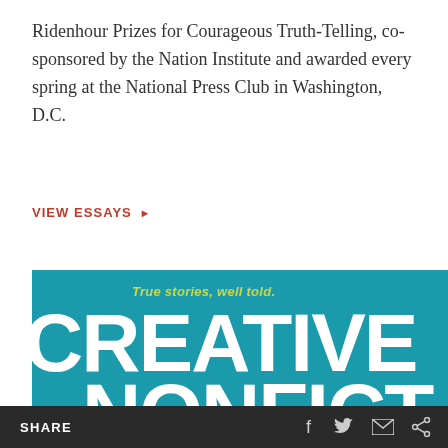Ridenhour Prizes for Courageous Truth-Telling, co-sponsored by the Nation Institute and awarded every spring at the National Press Club in Washington, D.C.
VIEW ESSAYS ▶
[Figure (illustration): Creative Nonfiction magazine banner/logo on teal background with tagline 'True stories, well told.' in yellow-green italic text and large white bold text reading 'CREATIVE NONFICTION' partially visible]
SHARE [social icons: Facebook, Twitter, Email, Share]